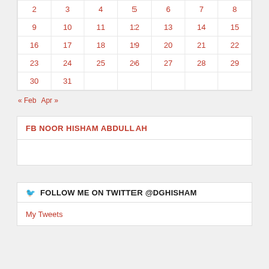|  |  |  |  |  |  |  |
| --- | --- | --- | --- | --- | --- | --- |
| 2 | 3 | 4 | 5 | 6 | 7 | 8 |
| 9 | 10 | 11 | 12 | 13 | 14 | 15 |
| 16 | 17 | 18 | 19 | 20 | 21 | 22 |
| 23 | 24 | 25 | 26 | 27 | 28 | 29 |
| 30 | 31 |  |  |  |  |  |
« Feb   Apr »
FB NOOR HISHAM ABDULLAH
FOLLOW ME ON TWITTER @DGHISHAM
My Tweets